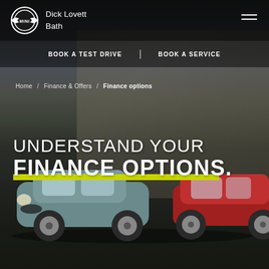[Figure (photo): Hero background image of MINI dealership webpage showing two MINI cars (one teal/grey and one red) in an urban plaza setting with classical architecture. Overlaid navigation header with MINI logo and dealer name Dick Lovett Bath, navigation links BOOK A TEST DRIVE and BOOK A SERVICE, breadcrumb navigation, and headline text UNDERSTAND YOUR FINANCE OPTIONS.]
Dick Lovett Bath
BOOK A TEST DRIVE | BOOK A SERVICE
Home / Finance & Offers / Finance options
UNDERSTAND YOUR FINANCE OPTIONS.